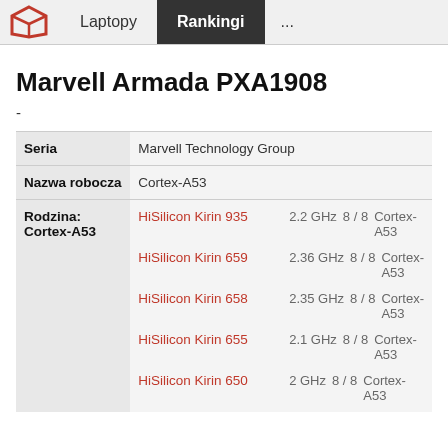Laptopy | Rankingi | ...
Marvell Armada PXA1908
-
|  |  |
| --- | --- |
| Seria | Marvell Technology Group |
| Nazwa robocza | Cortex-A53 |
| Rodzina: Cortex-A53 | HiSilicon Kirin 935 | 2.2 GHz | 8 / 8 | Cortex-A53
HiSilicon Kirin 659 | 2.36 GHz | 8 / 8 | Cortex-A53
HiSilicon Kirin 658 | 2.35 GHz | 8 / 8 | Cortex-A53
HiSilicon Kirin 655 | 2.1 GHz | 8 / 8 | Cortex-A53
HiSilicon Kirin 650 | 2 GHz | 8 / 8 | Cortex-A53 |